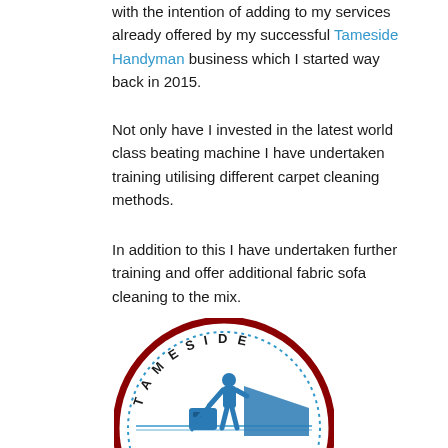with the intention of adding to my services already offered by my successful Tameside Handyman business which I started way back in 2015.
Not only have I invested in the latest world class beating machine I have undertaken training utilising different carpet cleaning methods.
In addition to this I have undertaken further training and offer additional fabric sofa cleaning to the mix.
[Figure (logo): Tameside circular logo with dark red border, dotted inner ring, blue silhouette of a person cleaning carpet with equipment, and the word TAMESIDE arched at the top.]